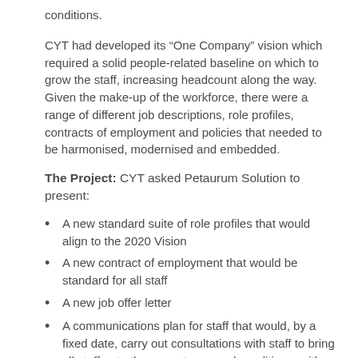conditions.
CYT had developed its “One Company” vision which required a solid people-related baseline on which to grow the staff, increasing headcount along the way. Given the make-up of the workforce, there were a range of different job descriptions, role profiles, contracts of employment and policies that needed to be harmonised, modernised and embedded.
The Project: CYT asked Petaurum Solution to present:
A new standard suite of role profiles that would align to the 2020 Vision
A new contract of employment that would be standard for all staff
A new job offer letter
A communications plan for staff that would, by a fixed date, carry out consultations with staff to bring all staff onto the same terms and conditions, with a